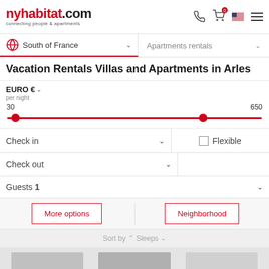nyhabitat.com connecting people & apartments
South of France  Apartments rentals
Vacation Rentals Villas and Apartments in Arles
EURO € per night  30  650
Check in
Flexible
Check out
Guests 1
More options
Neighborhood
Sort by  Sleeps